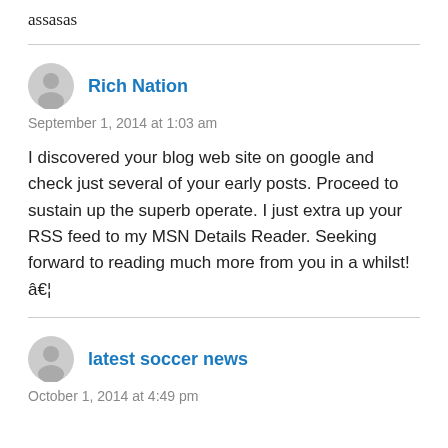assasas
Rich Nation
September 1, 2014 at 1:03 am
I discovered your blog web site on google and check just several of your early posts. Proceed to sustain up the superb operate. I just extra up your RSS feed to my MSN Details Reader. Seeking forward to reading much more from you in a whilst!â€¦
latest soccer news
October 1, 2014 at 4:49 pm